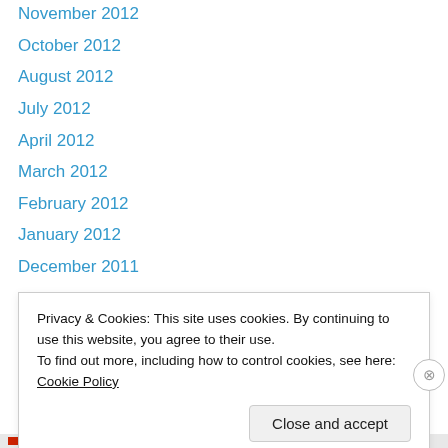November 2012
October 2012
August 2012
July 2012
April 2012
March 2012
February 2012
January 2012
December 2011
November 2011
October 2011
July 2011
June 2011
May 2011
Privacy & Cookies: This site uses cookies. By continuing to use this website, you agree to their use. To find out more, including how to control cookies, see here: Cookie Policy
Close and accept